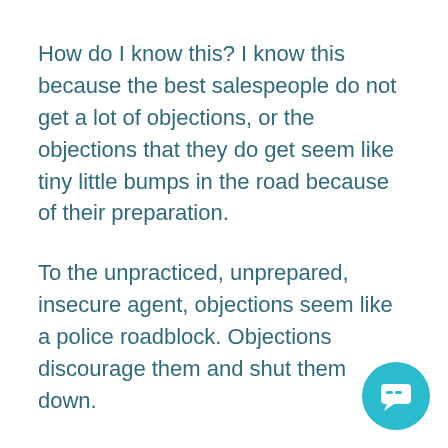How do I know this? I know this because the best salespeople do not get a lot of objections, or the objections that they do get seem like tiny little bumps in the road because of their preparation.
To the unpracticed, unprepared, insecure agent, objections seem like a police roadblock. Objections discourage them and shut them down.
The great news is that you get to decide which agent you are going to be. Objections will come...they are unavoidable, but is not hard to navigate objections. It just takes work